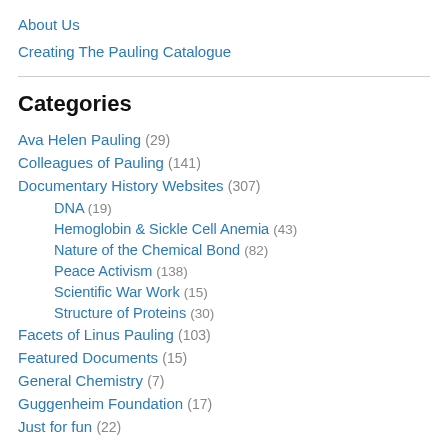About Us
Creating The Pauling Catalogue
Categories
Ava Helen Pauling (29)
Colleagues of Pauling (141)
Documentary History Websites (307)
DNA (19)
Hemoglobin & Sickle Cell Anemia (43)
Nature of the Chemical Bond (82)
Peace Activism (138)
Scientific War Work (15)
Structure of Proteins (30)
Facets of Linus Pauling (103)
Featured Documents (15)
General Chemistry (7)
Guggenheim Foundation (17)
Just for fun (22)